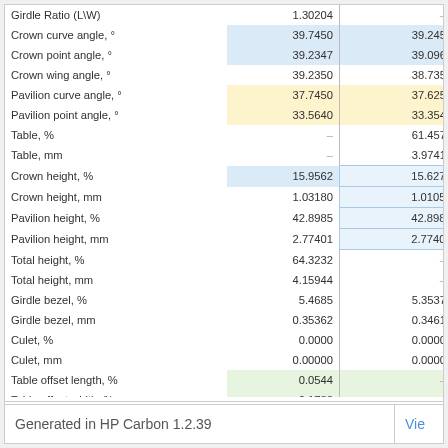| Parameter | Value 1 | Value 2 |
| --- | --- | --- |
| Girdle Ratio (L\W) | 1.30204 | – |
| Crown curve angle, ° | 39.7450 | 39.245 |
| Crown point angle, ° | 39.2347 | 39.096 |
| Crown wing angle, ° | 39.2350 | 38.735 |
| Pavilion curve angle, ° | 37.7450 | 37.625 |
| Pavilion point angle, ° | 33.5640 | 33.354 |
| Table, % | – | 61.457 |
| Table, mm | – | 3.9741 |
| Crown height, % | 15.9562 | 15.627 |
| Crown height, mm | 1.03180 | 1.0105 |
| Pavilion height, % | 42.8985 | 42.898 |
| Pavilion height, mm | 2.77401 | 2.7740 |
| Total height, % | 64.3232 | – |
| Total height, mm | 4.15944 | – |
| Girdle bezel, % | 5.4685 | 5.3537 |
| Girdle bezel, mm | 0.35362 | 0.3461 |
| Culet, % | 0.0000 | 0.0000 |
| Culet, mm | 0.00000 | 0.0000 |
| Table offset length, % | 0.0544 | – |
| Table offset width, % | 0.1788 | – |
| Culet offset length, % | 0.2433 | – |
| Culet offset width, % | 0.2101 | – |
Generated in HP Carbon 1.2.39